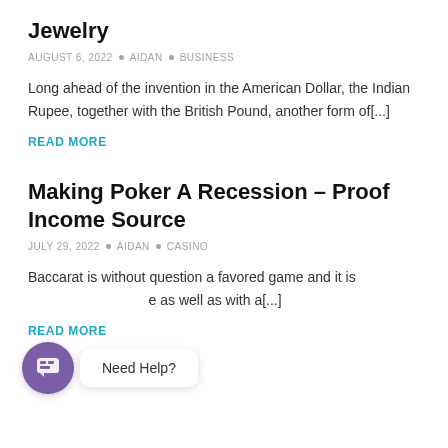Jewelry
AUGUST 6, 2022 • AIDAN • BUSINESS
Long ahead of the invention in the American Dollar, the Indian Rupee, together with the British Pound, another form of[...]
READ MORE
Making Poker A Recession – Proof Income Source
JULY 29, 2022 • AIDAN • CASINO
Baccarat is without question a favored game and it is (...) as well as with a[...]
READ MORE